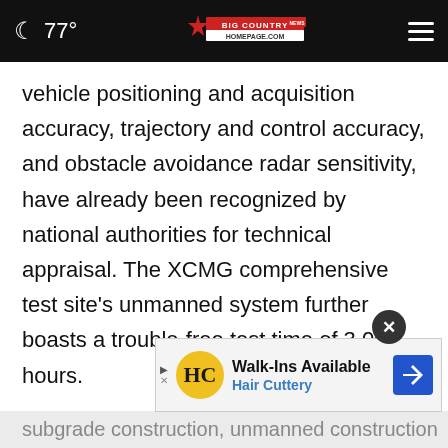🌙 77° | Big Country Homepage | ☰
vehicle positioning and acquisition accuracy, trajectory and control accuracy, and obstacle avoidance radar sensitivity, have already been recognized by national authorities for technical appraisal. The XCMG comprehensive test site's unmanned system further boasts a trouble-free test time of 3,000 hours.
Data from key projects such as the Jingxiong Expressway, Panda Expressway, and Xinxian Expressway subgrade construction, unmanned construction
[Figure (screenshot): Advertisement banner for Hair Cuttery: Walk-Ins Available, Hair Cuttery with HC logo and navigation arrow icon]